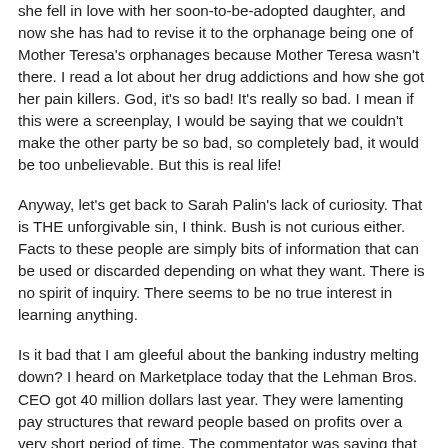she fell in love with her soon-to-be-adopted daughter, and now she has had to revise it to the orphanage being one of Mother Teresa's orphanages because Mother Teresa wasn't there. I read a lot about her drug addictions and how she got her pain killers. God, it's so bad! It's really so bad. I mean if this were a screenplay, I would be saying that we couldn't make the other party be so bad, so completely bad, it would be too unbelievable. But this is real life!
Anyway, let's get back to Sarah Palin's lack of curiosity. That is THE unforgivable sin, I think. Bush is not curious either. Facts to these people are simply bits of information that can be used or discarded depending on what they want. There is no spirit of inquiry. There seems to be no true interest in learning anything.
Is it bad that I am gleeful about the banking industry melting down? I heard on Marketplace today that the Lehman Bros. CEO got 40 million dollars last year. They were lamenting pay structures that reward people based on profits over a very short period of time. The commentator was saying that these bonuses should be based on ten years or even twenty